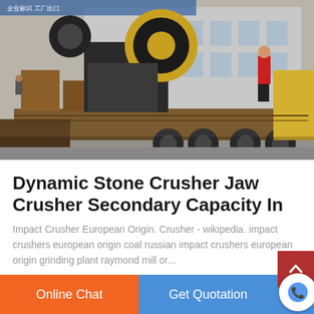[Figure (photo): Industrial jaw crusher machine loaded on a flatbed truck inside a factory/warehouse. A worker in a red shirt stands on the truck. Large yellow/black cylindrical crusher component visible, along with wooden crates and yellow steel parts.]
Dynamic Stone Crusher Jaw Crusher Secondary Capacity In
Impact Crusher European Origin. Crusher - wikipedia. impact crushers european origin coal russian impact crushers european origin grinding plant raymond mill or...